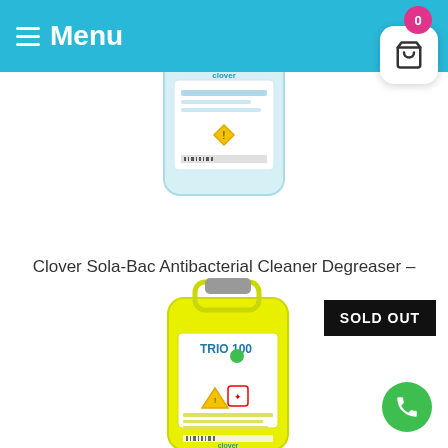Menu
[Figure (photo): Blue/transparent 5-litre plastic jerry can bottle of Clover Sola-Bac cleaning product, partially cropped at top]
Clover Sola-Bac Antibacterial Cleaner Degreaser – 319
£8.95 – £279.95
Select options
[Figure (photo): Yellow 5-litre plastic jerry can bottle of TRIO 100 cleaning product]
SOLD OUT